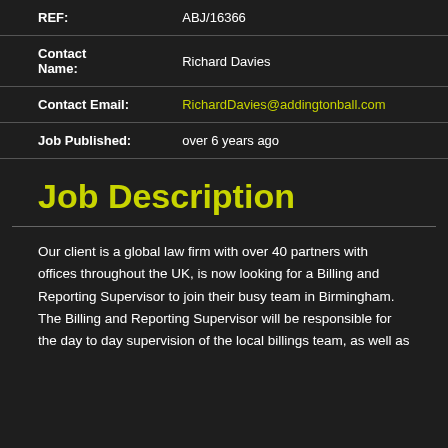| REF: | ABJ/16366 |
| Contact Name: | Richard Davies |
| Contact Email: | RichardDavies@addingtonball.com |
| Job Published: | over 6 years ago |
Job Description
Our client is a global law firm with over 40 partners with offices throughout the UK, is now looking for a Billing and Reporting Supervisor to join their busy team in Birmingham. The Billing and Reporting Supervisor will be responsible for the day to day supervision of the local billings team, as well as